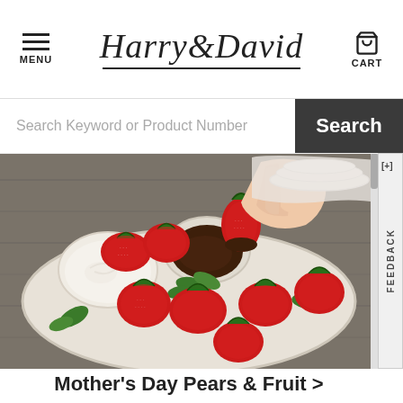MENU | Harry&David | CART
Search Keyword or Product Number
[Figure (photo): A platter of fresh red strawberries arranged around two dipping bowls — one with white cream and one with dark chocolate — garnished with mint leaves. A hand is dipping a strawberry into the chocolate. Background is a rustic gray wood table with white plates and linen.]
Mother's Day Pears & Fruit >